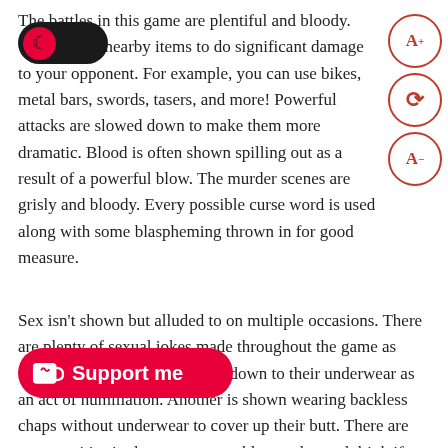The battles in this game are plentiful and bloody. You can use nearby items to do significant damage to your opponent. For example, you can use bikes, metal bars, swords, tasers, and more! Powerful attacks are slowed down to make them more dramatic. Blood is often shown spilling out as a result of a powerful blow. The murder scenes are grisly and bloody. Every possible curse word is used along with some blaspheming thrown in for good measure.
Sex isn't shown but alluded to on multiple occasions. There are plenty of sexual jokes made throughout the game as well. One character is stripped down to their underwear as an act of humiliation. Another is shown wearing backless chaps without underwear to cover up their butt. There are opportunities in the game to gamble, smoke, and drink if desired.